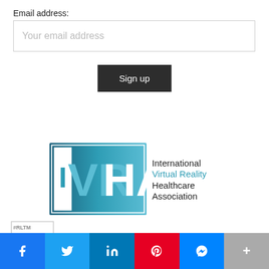Email address:
Your email address
Sign up
[Figure (logo): IVRHA - International Virtual Reality Healthcare Association logo with teal gradient background and white/light blue lettering]
[Figure (logo): The Realtime Report logo with #RLTM hashtag icon and green leaf graphic]
[Figure (infographic): Social sharing bar with Facebook, Twitter, LinkedIn, Pinterest, Messenger, and More buttons]